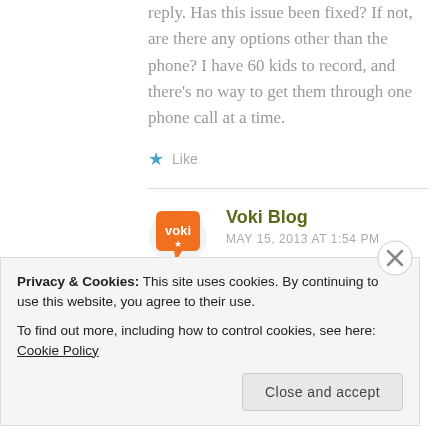reply. Has this issue been fixed? If not, are there any options other than the phone? I have 60 kids to record, and there's no way to get them through one phone call at a time.
★ Like
[Figure (logo): Voki Blog orange speech bubble logo]
Voki Blog
MAY 15, 2013 AT 1:54 PM
Hi Lesa,
Privacy & Cookies: This site uses cookies. By continuing to use this website, you agree to their use.
To find out more, including how to control cookies, see here: Cookie Policy
Close and accept